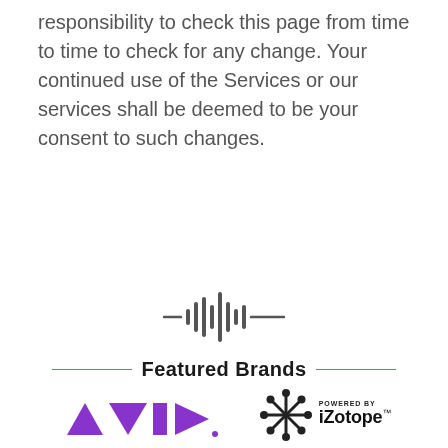responsibility to check this page from time to time to check for any change. Your continued use of the Services or our services shall be deemed to be your consent to such changes.
[Figure (logo): Audio waveform icon in dark gray]
Featured Brands
[Figure (logo): Avid logo in purple with triangle shapes]
[Figure (logo): iZotope logo with asterisk/snowflake icon and text 'POWERED BY iZotope']